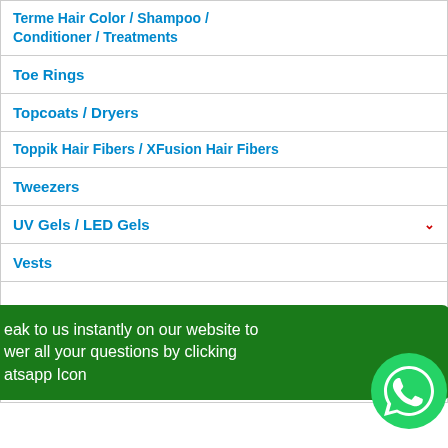Terme Hair Color / Shampoo / Conditioner / Treatments
Toe Rings
Topcoats / Dryers
Toppik Hair Fibers / XFusion Hair Fibers
Tweezers
UV Gels / LED Gels
Vests
eak to us instantly on our website to wer all your questions by clicking atsapp Icon
Waxing / Accessories